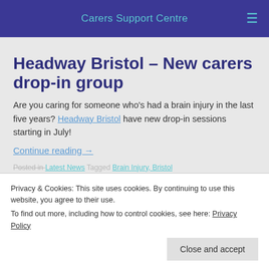Carers Support Centre
Headway Bristol – New carers drop-in group
Are you caring for someone who's had a brain injury in the last five years? Headway Bristol have new drop-in sessions starting in July!
Continue reading →
Posted in Latest News Tagged Brain Injury, Bristol
Privacy & Cookies: This site uses cookies. By continuing to use this website, you agree to their use.
To find out more, including how to control cookies, see here: Privacy Policy